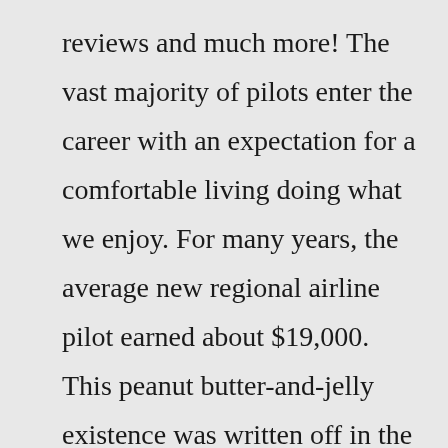reviews and much more! The vast majority of pilots enter the career with an expectation for a comfortable living doing what we enjoy. For many years, the average new regional airline pilot earned about $19,000. This peanut butter-and-jelly existence was written off in the words of the ... Download Your FREE Airline Pilot Career Guide ». In its 2020-2040 Aerospace Forecast, the FAA cites the airline pilot shortage as an ongoing